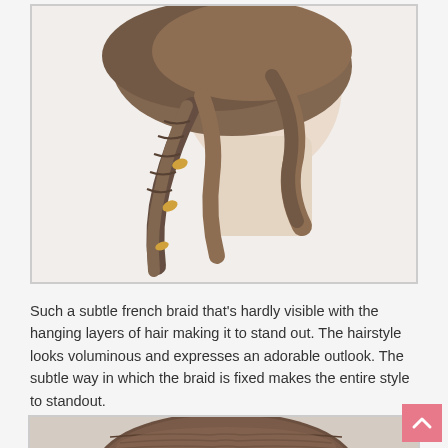[Figure (photo): Back view of a mannequin head displaying a subtle french braid hairstyle with hanging layers of hair and decorative clips/pins, photographed against a white background.]
Such a subtle french braid that's hardly visible with the hanging layers of hair making it to stand out. The hairstyle looks voluminous and expresses an adorable outlook. The subtle way in which the braid is fixed makes the entire style to standout.
[Figure (photo): Top/back view of a mannequin head displaying a voluminous updo hairstyle with brown hair, partially visible at the bottom of the page.]